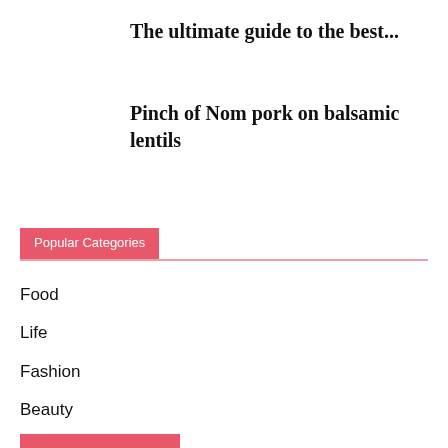The ultimate guide to the best...
Pinch of Nom pork on balsamic lentils
Popular Categories
Food
Life
Fashion
Beauty
Celebrity
Interiors